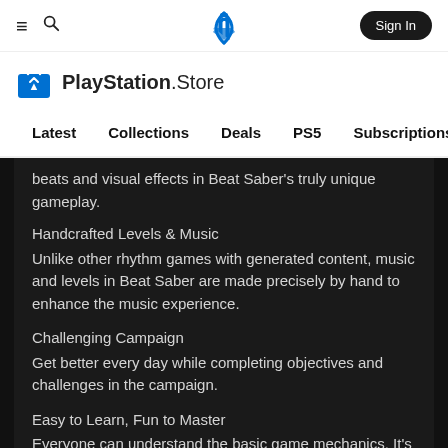≡  🔍   PlayStation Logo   Sign In
[Figure (logo): PlayStation Store logo with shopping bag icon]
Latest   Collections   Deals   PS5   Subscriptions  >
beats and visual effects in Beat Saber's truly unique gameplay.
Handcrafted Levels & Music
Unlike other rhythm games with generated content, music and levels in Beat Saber are made precisely by hand to enhance the music experience.
Challenging Campaign
Get better every day while completing objectives and challenges in the campaign.
Easy to Learn, Fun to Master
Everyone can understand the basic game mechanics. It's easy for anyone to pick up and play.